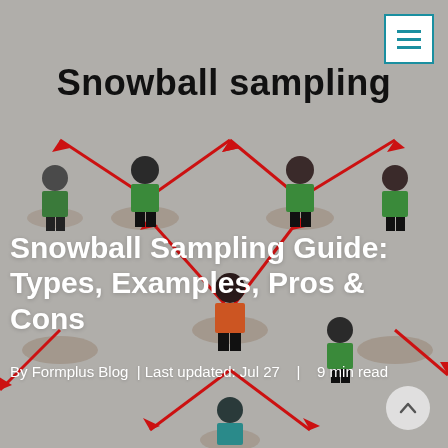[Figure (illustration): Snowball sampling illustration showing stick-figure people connected by red arrows spreading outward on a gray background, with some figures in green, orange, teal and black clothing standing on circular platforms]
Snowball sampling
Snowball Sampling Guide: Types, Examples, Pros & Cons
By Formplus Blog  |  Last updated: Jul 27    |    9 min read